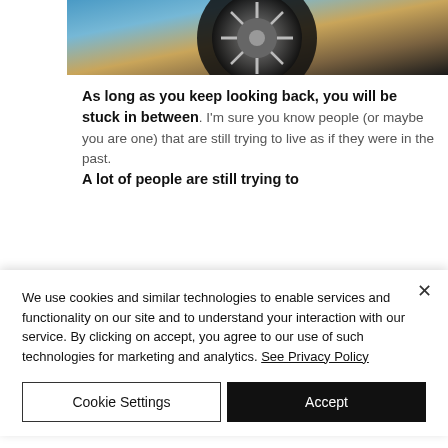[Figure (photo): Close-up photo of a vehicle wheel/tire area with colorful background, partially cropped at top]
As long as you keep looking back, you will be stuck in between. I'm sure you know people (or maybe you are one) that are still trying to live as if they were in the past. A lot of people are still trying to
We use cookies and similar technologies to enable services and functionality on our site and to understand your interaction with our service. By clicking on accept, you agree to our use of such technologies for marketing and analytics. See Privacy Policy
Cookie Settings
Accept